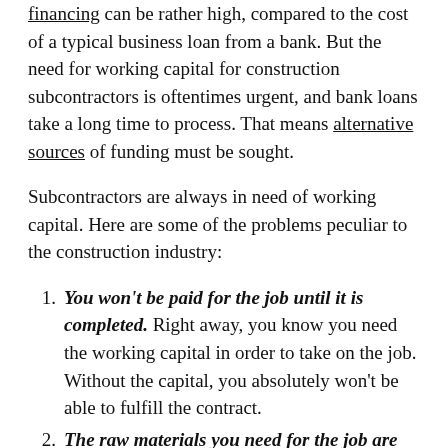financing can be rather high, compared to the cost of a typical business loan from a bank. But the need for working capital for construction subcontractors is oftentimes urgent, and bank loans take a long time to process. That means alternative sources of funding must be sought.
Subcontractors are always in need of working capital. Here are some of the problems peculiar to the construction industry:
1. You won't be paid for the job until it is completed. Right away, you know you need the working capital in order to take on the job. Without the capital, you absolutely won't be able to fulfill the contract.
2. The raw materials you need for the job are